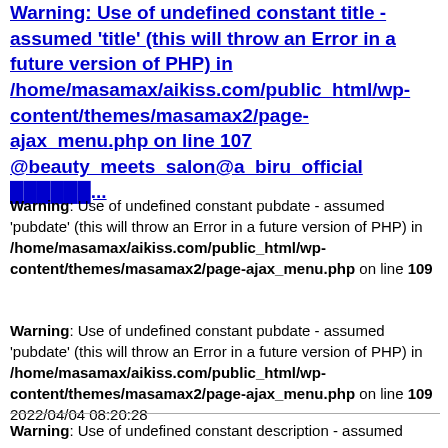Warning: Use of undefined constant title - assumed 'title' (this will throw an Error in a future version of PHP) in /home/masamax/aikiss.com/public_html/wp-content/themes/masamax2/page-ajax_menu.php on line 107 @beauty_meets_salon@a_biru_official ██████...
Warning: Use of undefined constant pubdate - assumed 'pubdate' (this will throw an Error in a future version of PHP) in /home/masamax/aikiss.com/public_html/wp-content/themes/masamax2/page-ajax_menu.php on line 109
Warning: Use of undefined constant pubdate - assumed 'pubdate' (this will throw an Error in a future version of PHP) in /home/masamax/aikiss.com/public_html/wp-content/themes/masamax2/page-ajax_menu.php on line 109 2022/04/04 08:20:28
Warning: Use of undefined constant description - assumed